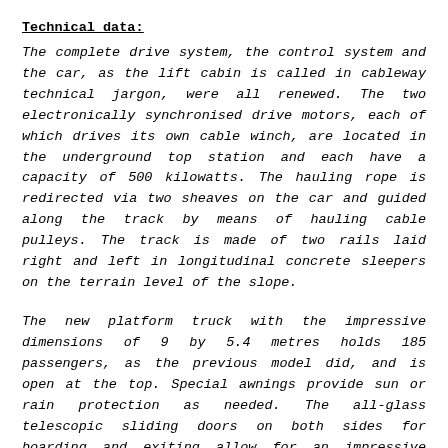Technical data:
The complete drive system, the control system and the car, as the lift cabin is called in cableway technical jargon, were all renewed. The two electronically synchronised drive motors, each of which drives its own cable winch, are located in the underground top station and each have a capacity of 500 kilowatts. The hauling rope is redirected via two sheaves on the car and guided along the track by means of hauling cable pulleys. The track is made of two rails laid right and left in longitudinal concrete sleepers on the terrain level of the slope.
The new platform truck with the impressive dimensions of 9 by 5.4 metres holds 185 passengers, as the previous model did, and is open at the top. Special awnings provide sun or rain protection as needed. The all-glass telescopic sliding doors on both sides for boarding and exiting allow for an impressive upward view towards the glorious world of three thousand metre mountains, and on the other side a view of the